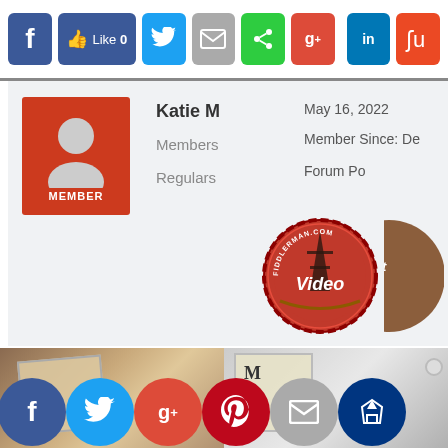[Figure (screenshot): Social media sharing buttons at top: Facebook, Like 0, Twitter, Mail, Share, G+, LinkedIn, StumbleUpon]
[Figure (screenshot): Member profile card showing avatar with MEMBER badge, name Katie M, roles Members and Regulars, date May 16 2022, Member Since, Forum Posts, and badge icons including Fiddlerman Video badge]
20
Charity shop purchases today £1 each …
[Figure (photo): Bottom portion showing sheet music or document photos and social sharing circle buttons: Facebook, Twitter, G+, Pinterest, Mail, Crown/other]
[Figure (screenshot): Bottom social circle buttons: Facebook (blue), Twitter (light blue), G+ (red), Pinterest (red), Mail (grey), Crown (dark blue)]